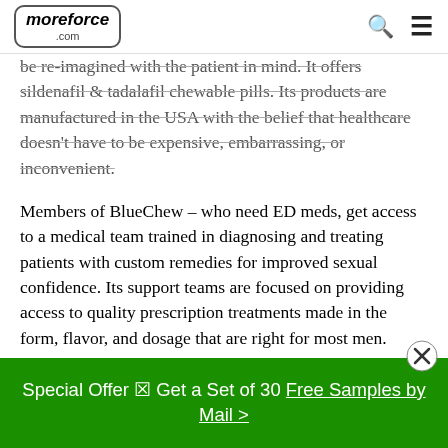moreforce.com
be re-imagined with the patient in mind. It offers sildenafil & tadalafil chewable pills. Its products are manufactured in the USA with the belief that healthcare doesn't have to be expensive, embarrassing, or inconvenient.
Members of BlueChew – who need ED meds, get access to a medical team trained in diagnosing and treating patients with custom remedies for improved sexual confidence. Its support teams are focused on providing access to quality prescription treatments made in the form, flavor, and dosage that are right for most men.
Special Offer ⊠ Get a Set of 30 Free Samples by Mail >